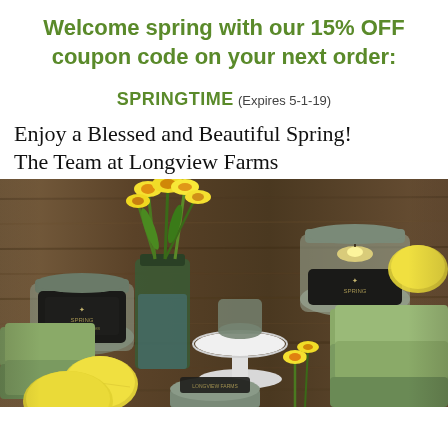Welcome spring with our 15% OFF coupon code on your next order:
SPRINGTIME (Expires 5-1-19)
Enjoy a Blessed and Beautiful Spring! The Team at Longview Farms
[Figure (photo): Photo of Longview Farms spring products including mason jar candles, green soap bars, and yellow daffodils arranged on a rustic wooden surface with lemons]